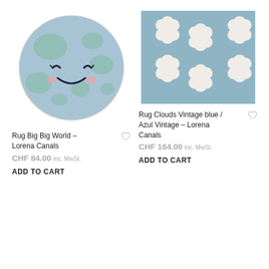[Figure (photo): Round children's rug with a cute smiling Earth face design in blue and green tones — Rug Big Big World by Lorena Canals]
[Figure (photo): Rectangular children's rug in vintage blue with white cloud shapes arranged in rows — Rug Clouds Vintage blue by Lorena Canals]
Rug Big Big World – Lorena Canals
CHF 84.00 inc. MwSt.
ADD TO CART
Rug Clouds Vintage blue / Azul Vintage – Lorena Canals
CHF 164.00 inc. MwSt.
ADD TO CART